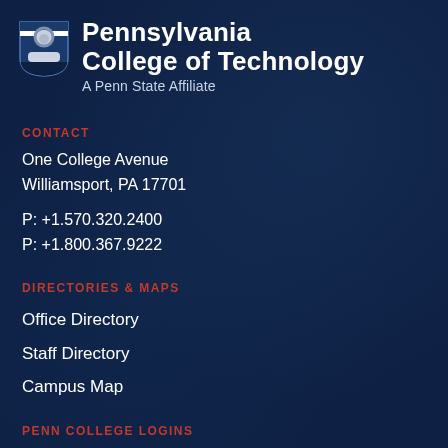[Figure (logo): Pennsylvania College of Technology shield logo with lion, blue and white]
Pennsylvania College of Technology
A Penn State Affiliate
CONTACT
One College Avenue
Williamsport, PA 17701
P: +1.570.320.2400
P: +1.800.367.9222
DIRECTORIES & MAPS
Office Directory
Staff Directory
Campus Map
PENN COLLEGE LOGINS
MyPCT